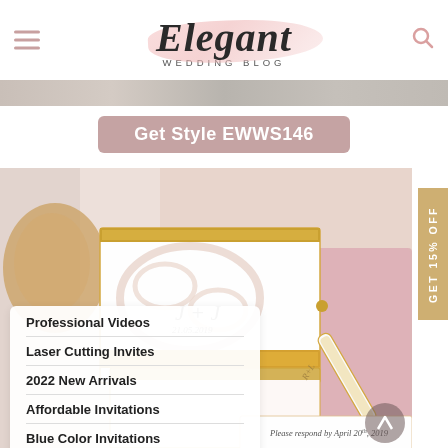Elegant Wedding Blog
[Figure (photo): Thin photo strip showing blurred floral/marble background]
Get Style EWWS146
[Figure (photo): Laser-cut wedding invitation suite with gold glitter edges on pink and marble background, monogram J+J, RSVP card visible]
Professional Videos
Laser Cutting Invites
2022 New Arrivals
Affordable Invitations
Blue Color Invitations
Burgundy Invitations